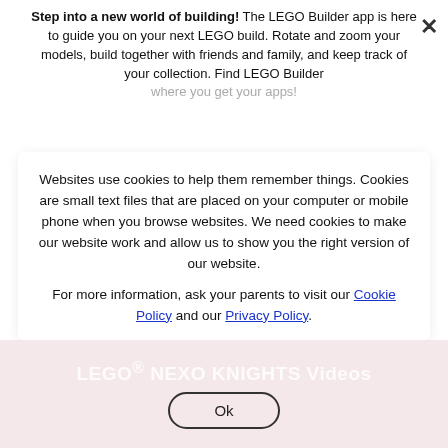Step into a new world of building! The LEGO Builder app is here to guide you on your next LEGO build. Rotate and zoom your models, build together with friends and family, and keep track of your collection. Find LEGO Builder where you get your apps!
Websites use cookies to help them remember things. Cookies are small text files that are placed on your computer or mobile phone when you browse websites. We need cookies to make our website work and allow us to show you the right version of our website.
For more information, ask your parents to visit our Cookie Policy and our Privacy Policy.
LEGO® NEXO KNIGHTS Videos
Ok